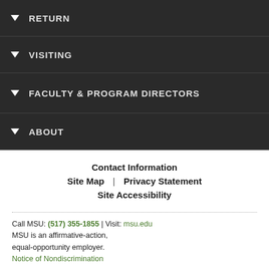▼ RETURN
▼ VISITING
▼ FACULTY & PROGRAM DIRECTORS
▼ ABOUT
Contact Information
Site Map | Privacy Statement
Site Accessibility
Call MSU: (517) 355-1855 | Visit: msu.edu
MSU is an affirmative-action, equal-opportunity employer.
Notice of Nondiscrimination
SPARTANS WILL.
© Michigan State University
MICHIGAN STATE